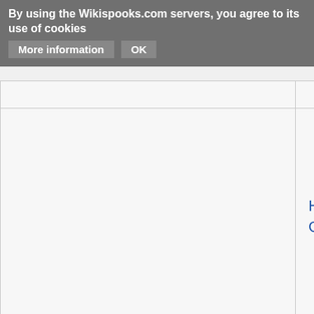By using the Wikispooks.com servers, you agree to its use of cookies  More information  OK
|  | Name | Date | Place |
| --- | --- | --- | --- |
|  |  |  |  |
|  | Hugh Gaitskell | 9 April 1906 | London Kensington England |
|  | Thomas Gates | 10 April 1906 | United States Pennsylvania Germantown |
|  |  |  |  |